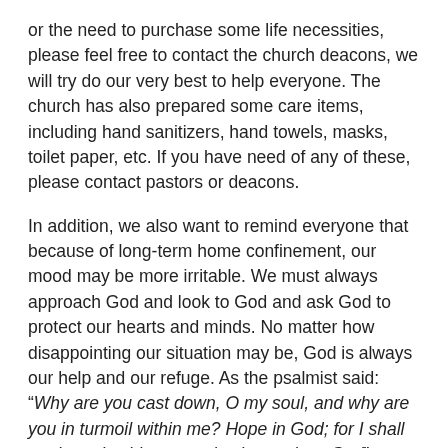or the need to purchase some life necessities, please feel free to contact the church deacons, we will try do our very best to help everyone. The church has also prepared some care items, including hand sanitizers, hand towels, masks, toilet paper, etc. If you have need of any of these, please contact pastors or deacons.
In addition, we also want to remind everyone that because of long-term home confinement, our mood may be more irritable. We must always approach God and look to God and ask God to protect our hearts and minds. No matter how disappointing our situation may be, God is always our help and our refuge. As the psalmist said: “Why are you cast down, O my soul, and why are you in turmoil within me? Hope in God; for I shall again praise him, my salvation and my God” (Psalm 42:11)
Finally, a reminder to everybody that there will be Communion this Sunday, so please prepare a small piece of bread and a small glass of grape juice, and let us together remember the salvation that the Lord has done for us and wait for the coming of the Lord.